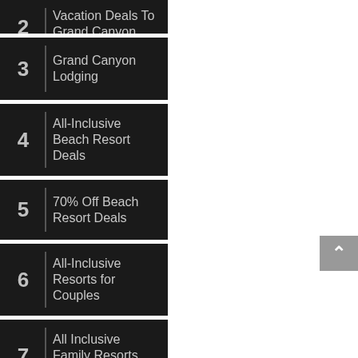2 Vacation Deals To Grand Canyon
3 Grand Canyon Lodging
4 All-Inclusive Beach Resort Deals
5 70% Off Beach Resort Deals
6 All-Inclusive Resorts for Couples
7 All Inclusive Family Resorts Deals